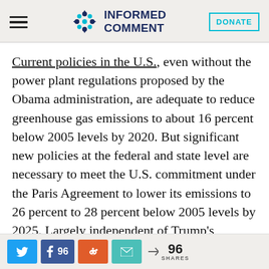INFORMED COMMENT
Current policies in the U.S., even without the power plant regulations proposed by the Obama administration, are adequate to reduce greenhouse gas emissions to about 16 percent below 2005 levels by 2020. But significant new policies at the federal and state level are necessary to meet the U.S. commitment under the Paris Agreement to lower its emissions to 26 percent to 28 percent below 2005 levels by 2025. Largely independent of Trump's decision to
96 SHARES